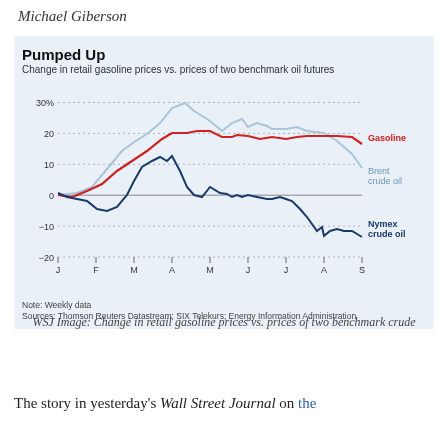Michael Giberson
[Figure (line-chart): Change in retail gasoline prices vs. prices of two benchmark oil futures. Three lines: Gasoline (red), Brent crude oil (light blue/grey), Nymex crude oil (dark blue). X-axis: months J through S. Y-axis: -20 to 30%.]
WSJ Image: Change in retail gasoline prices vs. prices of two benchmark crude
The story in yesterday's Wall Street Journal on the